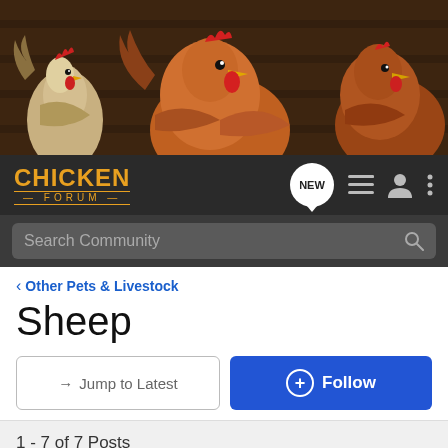[Figure (photo): Banner photo of chickens/hens in a barn setting, brown and white hens visible]
CHICKEN FORUM
Search Community
< Other Pets & Livestock
Sheep
→ Jump to Latest
+ Follow
1 - 7 of 7 Posts
Sundancers · Premium Member
Joined Jun 20, 2012 · 1,425 Posts